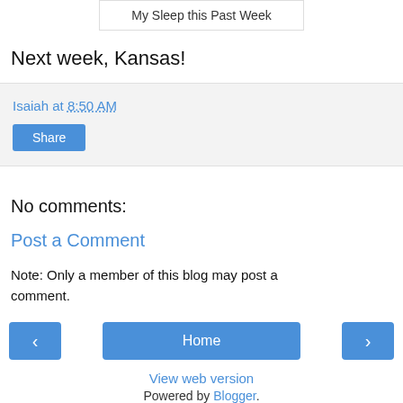My Sleep this Past Week
Next week, Kansas!
Isaiah at 8:50 AM
Share
No comments:
Post a Comment
Note: Only a member of this blog may post a comment.
< Home >
View web version
Powered by Blogger.